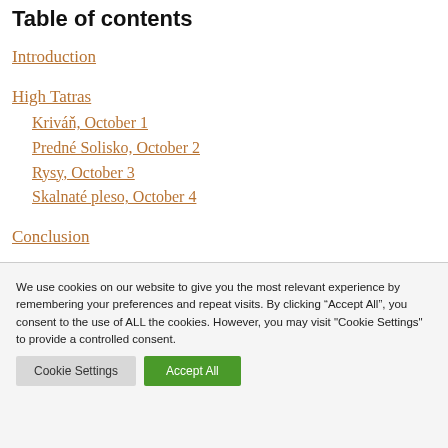Table of contents
Introduction
High Tatras
Kriváň, October 1
Predné Solisko, October 2
Rysy, October 3
Skalnaté pleso, October 4
Conclusion
We use cookies on our website to give you the most relevant experience by remembering your preferences and repeat visits. By clicking “Accept All”, you consent to the use of ALL the cookies. However, you may visit "Cookie Settings" to provide a controlled consent.